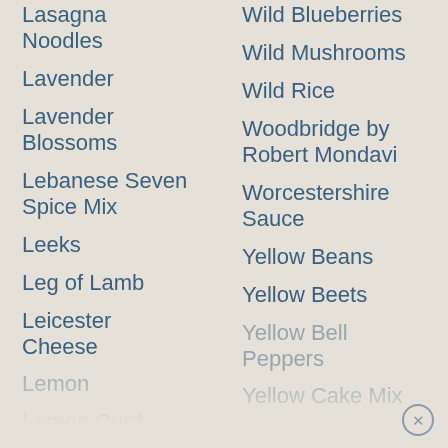Lasagna Noodles
Lavender
Lavender Blossoms
Lebanese Seven Spice Mix
Leeks
Leg of Lamb
Leicester Cheese
Lemon
Lemon Curd
Wild Blueberries
Wild Mushrooms
Wild Rice
Woodbridge by Robert Mondavi
Worcestershire Sauce
Yellow Beans
Yellow Beets
Yellow Bell Peppers
Yellow Cake Mix